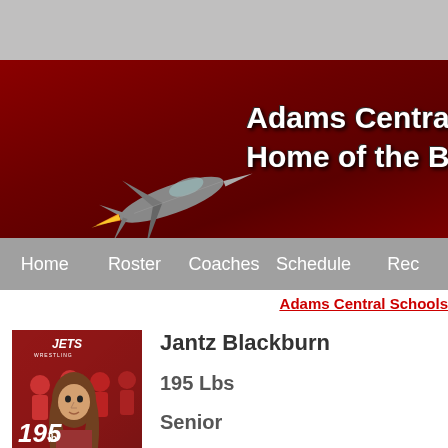[Figure (screenshot): Adams Central school website header with dark red banner, fighter jet logo, and text 'Adams Central - Home of the B...' ]
Home   Roster   Coaches   Schedule   Rec...
Adams Central Schools
Jantz Blackburn
195 Lbs
Senior
[Figure (photo): Athlete photo showing wrestling team photo with Jets logo, number 195lb shown, student with long hair in foreground]